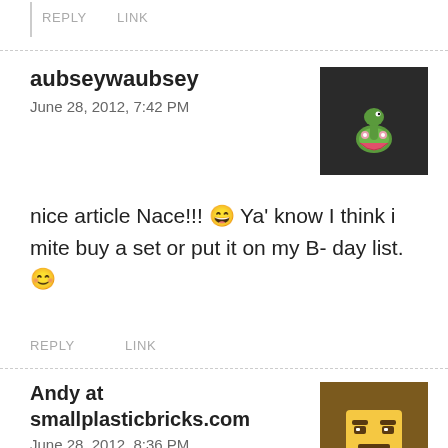REPLY   LINK
aubseywaubsey
June 28, 2012, 7:42 PM
nice article Nace!!! 😀 Ya' know I think i mite buy a set or put it on my B- day list. 🙂
REPLY   LINK
Andy at smallplasticbricks.com
June 28, 2012, 8:36 PM
Great sets! Finally, something besides police and fire! The trucks are cool. If you search for